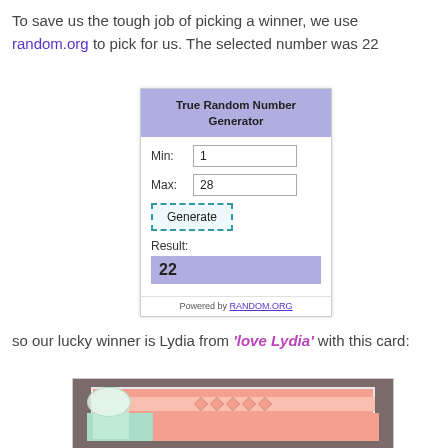To save us the tough job of picking a winner, we use random.org to pick for us. The selected number was 22
[Figure (screenshot): True Random Number Generator widget screenshot showing Min: 1, Max: 28, Generate button, Result: 22, Powered by RANDOM.ORG]
so our lucky winner is Lydia from 'love Lydia' with this card:
[Figure (photo): A handmade greeting card with pink and mint colors, diamond pattern border, and a white ribbon/bow on the left side, on a dark background.]